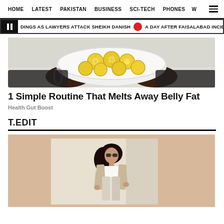HOME   LATEST   PAKISTAN   BUSINESS   SCI-TECH   PHONES   W ☰
DINGS AS LAWYERS ATTACK SHEIKH DANISH  •  A DAY AFTER FAISALABAD INCIDENT
[Figure (photo): Hands holding a bowl filled with lemon slices]
1 Simple Routine That Melts Away Belly Fat
Health Gut Boost
T.EDIT
[Figure (photo): Woman in white crop top and beige wide-leg pants posing indoors]